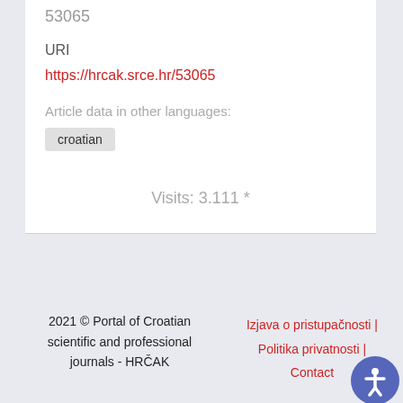53065
URI
https://hrcak.srce.hr/53065
Article data in other languages:
croatian
Visits: 3.111 *
2021 © Portal of Croatian scientific and professional journals - HRČAK | Izjava o pristupačnosti | Politika privatnosti | Contact